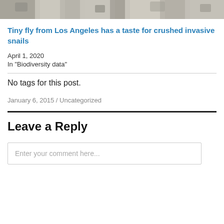[Figure (photo): Partial view of a close-up photo of a textured rocky or sandy surface with mottled grey, white, and brown tones — cropped at the top of the page.]
Tiny fly from Los Angeles has a taste for crushed invasive snails
April 1, 2020
In "Biodiversity data"
No tags for this post.
January 6, 2015 / Uncategorized
Leave a Reply
Enter your comment here...